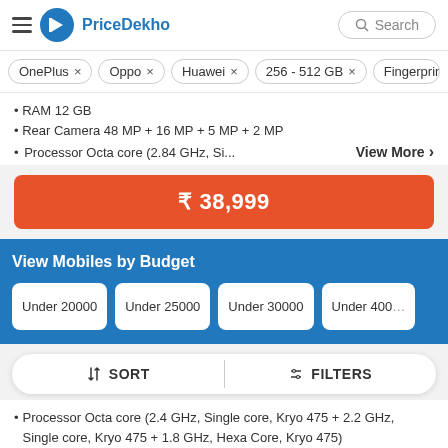PriceDekho
OnePlus ×
Oppo ×
Huawei ×
256 - 512 GB ×
Fingerprint
RAM 12 GB
Rear Camera 48 MP + 16 MP + 5 MP + 2 MP
Processor Octa core (2.84 GHz, Si...    View More  >
₹ 38,999
View Mobiles by Budget
Under 20000
Under 25000
Under 30000
Under 4000
SORT    FILTERS
Processor Octa core (2.4 GHz, Single core, Kryo 475 + 2.2 GHz, Single core, Kryo 475 + 1.8 GHz, Hexa Core, Kryo 475)